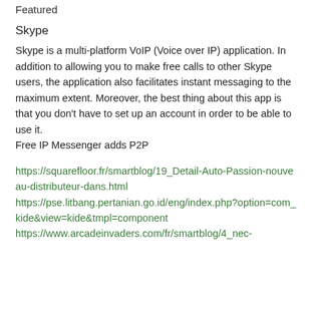Featured
Skype
Skype is a multi-platform VoIP (Voice over IP) application. In addition to allowing you to make free calls to other Skype users, the application also facilitates instant messaging to the maximum extent. Moreover, the best thing about this app is that you don't have to set up an account in order to be able to use it.
Free IP Messenger adds P2P
https://squarefloor.fr/smartblog/19_Detail-Auto-Passion-nouveau-distributeur-dans.html
https://pse.litbang.pertanian.go.id/eng/index.php?option=com_kide&view=kide&tmpl=component
https://www.arcadeinvaders.com/fr/smartblog/4_nec-